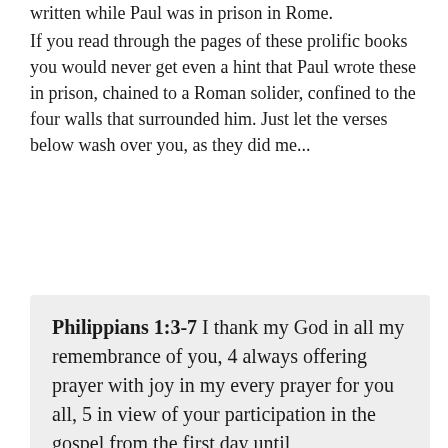written while Paul was in prison in Rome.
If you read through the pages of these prolific books you would never get even a hint that Paul wrote these in prison, chained to a Roman solider, confined to the four walls that surrounded him. Just let the verses below wash over you, as they did me...
Philippians 1:3-7 I thank my God in all my remembrance of you, 4 always offering prayer with joy in my every prayer for you all, 5 in view of your participation in the gospel from the first day until